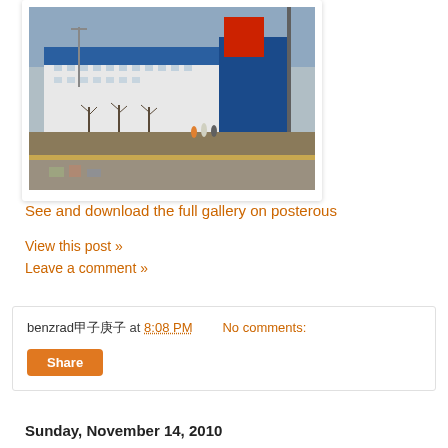[Figure (photo): Street-level photograph showing a large commercial/civic building with blue and red facade, bare trees, and a wide paved sidewalk/plaza area in the foreground. People visible in the distance.]
See and download the full gallery on posterous
View this post »
Leave a comment »
benzrad甲子庚子 at 8:08 PM   No comments:
Share
Sunday, November 14, 2010